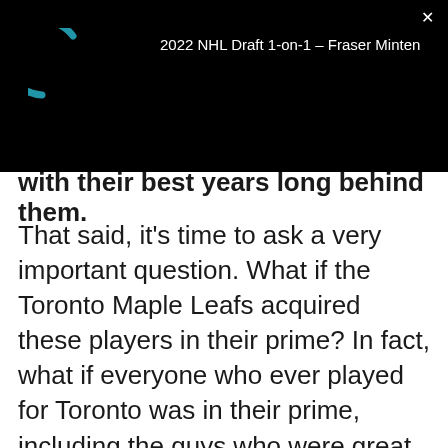2022 NHL Draft 1-on-1 – Fraser Minten
with their best years long behind them.
That said, it's time to ask a very important question. What if the Toronto Maple Leafs acquired these players in their prime? In fact, what if everyone who ever played for Toronto was in their prime, including the guys who were great for a season or two before disappearing? If we were to take a look back at every Leafs lineup throughout the franchise's 100+ year history, which team would have been the most dominant had everyone involved been at their peak.